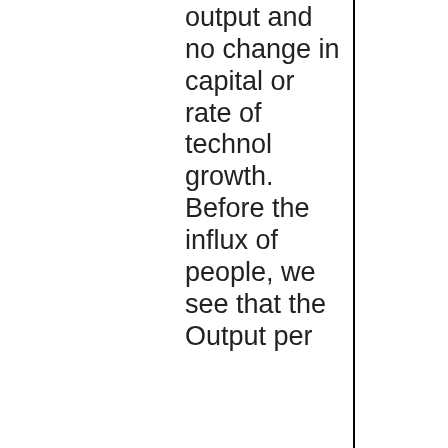output and no change in capital or rate of technol growth. Before the influx of people, we see that the Output per